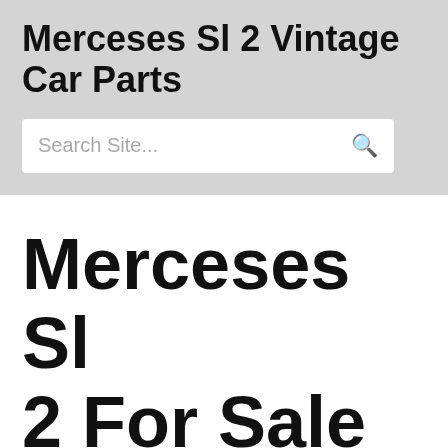Merceses Sl 2 Vintage Car Parts
Search Site...
Merceses Sl 2 For Sale